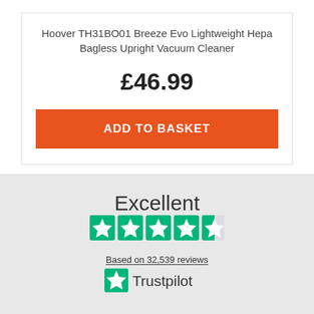Hoover TH31BO01 Breeze Evo Lightweight Hepa Bagless Upright Vacuum Cleaner
£46.99
ADD TO BASKET
Excellent
[Figure (other): Trustpilot 4.5 star rating with 5 green star boxes]
Based on 32,539 reviews
[Figure (logo): Trustpilot logo with green star icon]